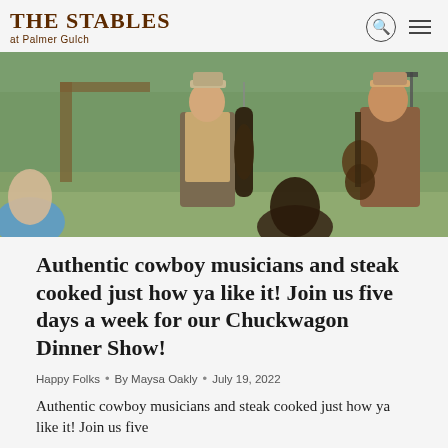The Stables at Palmer Gulch
[Figure (photo): Outdoor concert scene with two cowboy musicians performing — one playing an upright bass and one playing guitar — with an audience seated in the foreground, rustic wooden structures and green trees in the background.]
Authentic cowboy musicians and steak cooked just how ya like it! Join us five days a week for our Chuckwagon Dinner Show!
Happy Folks • By Maysa Oakly • July 19, 2022
Authentic cowboy musicians and steak cooked just how ya like it! Join us five